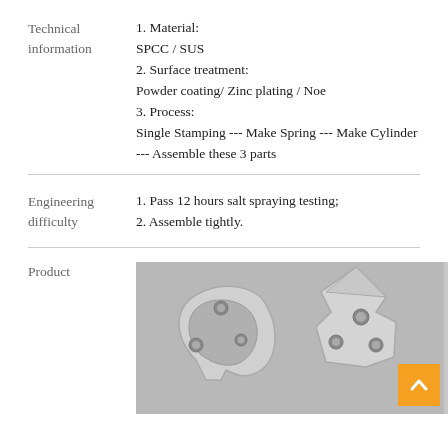Technical information | 1. Material:
SPCC / SUS
2. Surface treatment:
Powder coating/ Zinc plating / Noe
3. Process:
Single Stamping --- Make Spring --- Make Cylinder --- Assemble these 3 parts
Engineering difficulty | 1. Pass 12 hours salt spraying testing;
2. Assemble tightly.
[Figure (photo): Photo of two metal stamped parts (spring/cylinder bracket components) on a grey background. Parts appear to be SPCC/SUS stamped metal brackets with holes and curved cutouts, showing silver/chrome finish. An orange back-to-top button is overlaid in the bottom-right corner.]